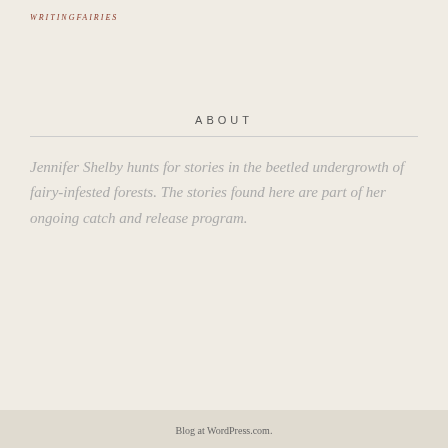WRITINGFAIRIES
ABOUT
Jennifer Shelby hunts for stories in the beetled undergrowth of fairy-infested forests. The stories found here are part of her ongoing catch and release program.
Blog at WordPress.com.